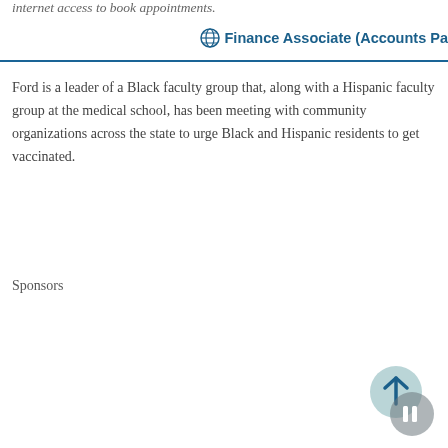internet access to book appointments.
Finance Associate (Accounts Pa
Ford is a leader of a Black faculty group that, along with a Hispanic faculty group at the medical school, has been meeting with community organizations across the state to urge Black and Hispanic residents to get vaccinated.
Sponsors